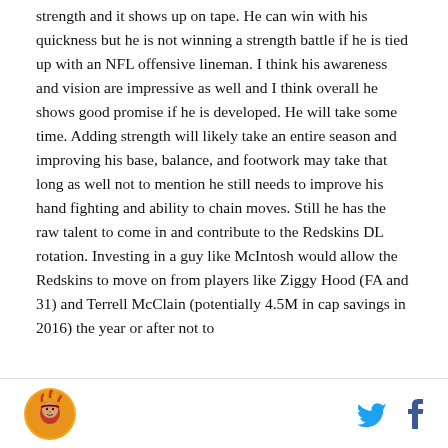strength and it shows up on tape. He can win with his quickness but he is not winning a strength battle if he is tied up with an NFL offensive lineman. I think his awareness and vision are impressive as well and I think overall he shows good promise if he is developed. He will take some time. Adding strength will likely take an entire season and improving his base, balance, and footwork may take that long as well not to mention he still needs to improve his hand fighting and ability to chain moves. Still he has the raw talent to come in and contribute to the Redskins DL rotation. Investing in a guy like McIntosh would allow the Redskins to move on from players like Ziggy Hood (FA and 31) and Terrell McClain (potentially 4.5M in cap savings in 2016) the year or after not to help divide...
Logo | Twitter | Facebook